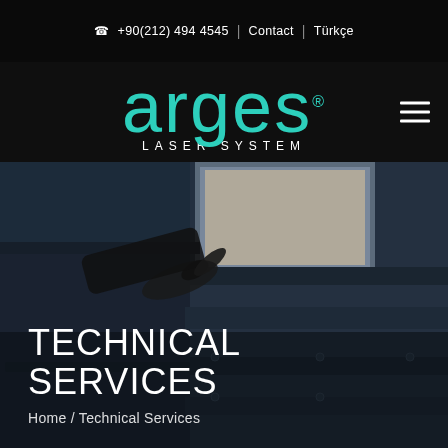+90(212) 494 4545 | Contact | Türkçe
[Figure (logo): arges LASER SYSTEM logo in teal/cyan color on black background]
[Figure (photo): A person's hand interacting with industrial laser cutting machine equipment, dark blue-grey metallic panels visible]
TECHNICAL SERVICES
Home / Technical Services